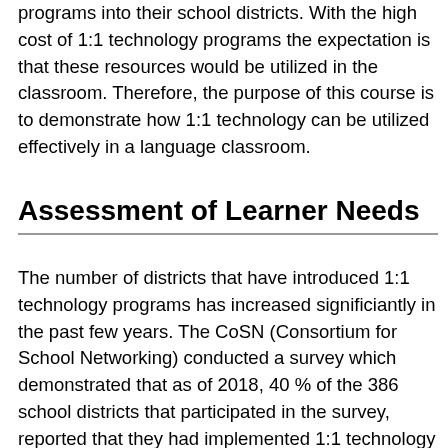programs into their school districts. With the high cost of 1:1 technology programs the expectation is that these resources would be utilized in the classroom. Therefore, the purpose of this course is to demonstrate how 1:1 technology can be utilized effectively in a language classroom.
Assessment of Learner Needs
The number of districts that have introduced 1:1 technology programs has increased significiantly in the past few years. The CoSN (Consortium for School Networking) conducted a survey which demonstrated that as of 2018, 40 % of the 386 school districts that participated in the survey, reported that they had implemented 1:1 technology into their schools. This is up from just 23% in 2014. While only a small percentage of school districts in the nation participated in the survey, it does demonstrate that there appears to be a growing number of districts that are moving towards implementing 1:1 technology programs. Furthermore, it appears that districts are doing this quickly as the number of 1:1 districts almost doubled in just four